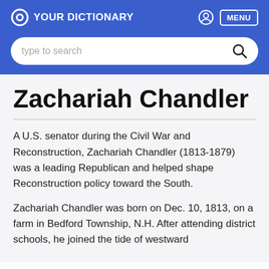YOUR DICTIONARY — MENU
Zachariah Chandler
A U.S. senator during the Civil War and Reconstruction, Zachariah Chandler (1813-1879) was a leading Republican and helped shape Reconstruction policy toward the South.
Zachariah Chandler was born on Dec. 10, 1813, on a farm in Bedford Township, N.H. After attending district schools, he joined the tide of westward